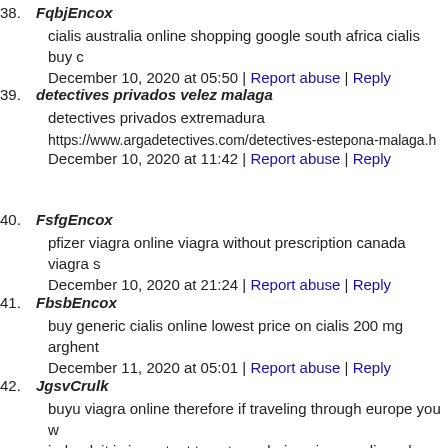38. FqbjEncox
cialis australia online shopping google south africa cialis buy c
December 10, 2020 at 05:50 | Report abuse | Reply
39. detectives privados velez malaga
detectives privados extremadura
https://www.argadetectives.com/detectives-estepona-malaga.h
December 10, 2020 at 11:42 | Report abuse | Reply
40. FsfgEncox
pfizer viagra online viagra without prescription canada viagra
December 10, 2020 at 21:24 | Report abuse | Reply
41. FbsbEncox
buy generic cialis online lowest price on cialis 200 mg arghent
December 11, 2020 at 05:01 | Report abuse | Reply
42. JgsvCrulk
buyu viagra online therefore if traveling through europe you w ireland. it is important to note, ordering viagra online where to